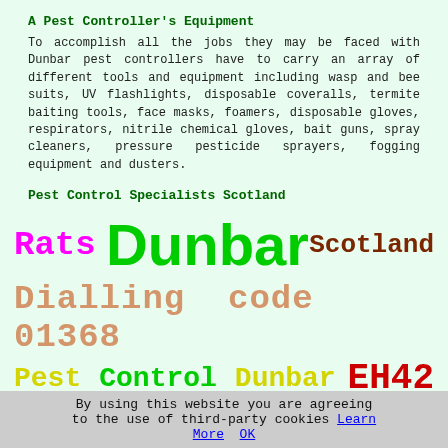A Pest Controller's Equipment
To accomplish all the jobs they may be faced with Dunbar pest controllers have to carry an array of different tools and equipment including wasp and bee suits, UV flashlights, disposable coveralls, termite baiting tools, face masks, foamers, disposable gloves, respirators, nitrile chemical gloves, bait guns, spray cleaners, pressure pesticide sprayers, fogging equipment and dusters.
Pest Control Specialists Scotland
Rats  Dunbar  Scotland
Dialling code  01368
Pest  Control  Dunbar  EH42
Service  Removal  Services
By using this website you are agreeing to the use of third-party cookies Learn More  OK